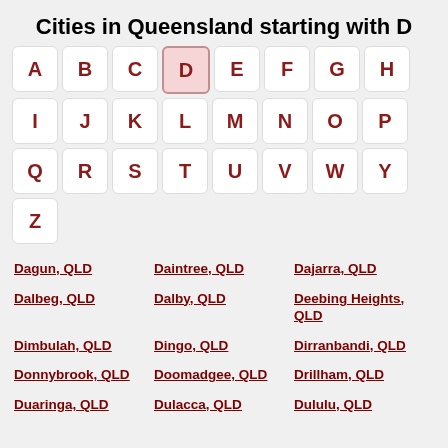Cities in Queensland starting with D
A B C D E F G H I J K L M N O P Q R S T U V W Y Z (alphabet navigation buttons)
Dagun, QLD
Daintree, QLD
Dajarra, QLD
Dalbeg, QLD
Dalby, QLD
Deebing Heights, QLD
Dimbulah, QLD
Dingo, QLD
Dirranbandi, QLD
Donnybrook, QLD
Doomadgee, QLD
Drillham, QLD
Duaringa, QLD
Dulacca, QLD
Dululu, QLD